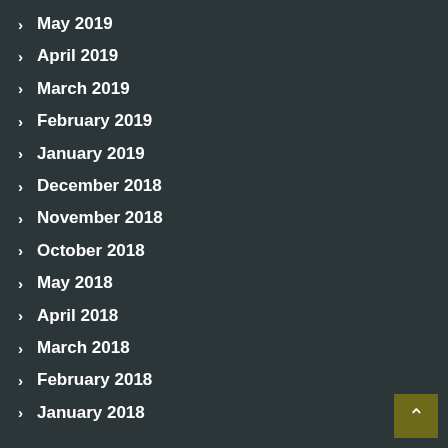May 2019
April 2019
March 2019
February 2019
January 2019
December 2018
November 2018
October 2018
May 2018
April 2018
March 2018
February 2018
January 2018